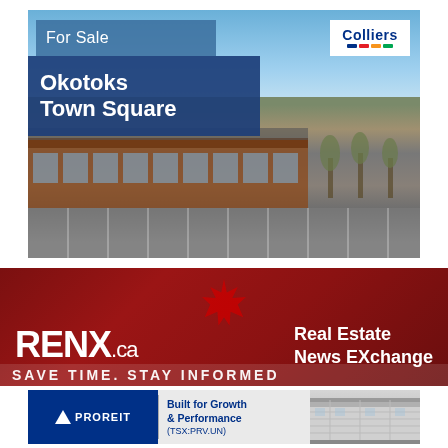[Figure (photo): Aerial photo of Okotoks Town Square retail plaza with parking lot, trees, and blue sky. Overlaid with 'For Sale' text box and 'Okotoks Town Square' title box in dark blue. Colliers logo in top right corner.]
[Figure (logo): RENX.ca Real Estate News EXchange advertisement banner on dark red background with Canadian maple leaf graphic and partial bottom text 'SAVE TIME. STAY INFORMED']
[Figure (logo): PROREIT advertisement banner with dark blue logo, 'Built for Growth & Performance (TSX:PRV.UN)' text, and photo of industrial warehouse building.]